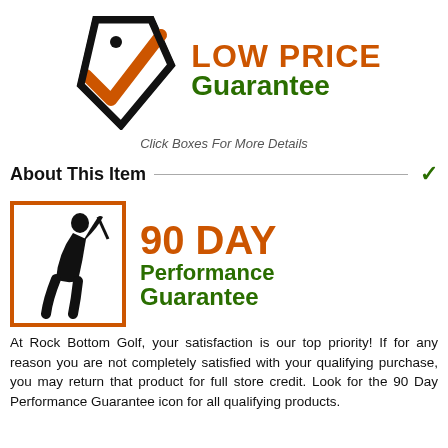[Figure (logo): Low Price Guarantee logo: a price tag with an orange checkmark, beside orange 'LOW PRICE' and green 'Guarantee' text]
Click Boxes For More Details
About This Item
[Figure (logo): 90 Day Performance Guarantee logo: silhouette of a golfer swinging inside an orange-bordered box, beside orange '90 DAY' and green 'Performance Guarantee' text]
At Rock Bottom Golf, your satisfaction is our top priority! If for any reason you are not completely satisfied with your qualifying purchase, you may return that product for full store credit. Look for the 90 Day Performance Guarantee icon for all qualifying products.